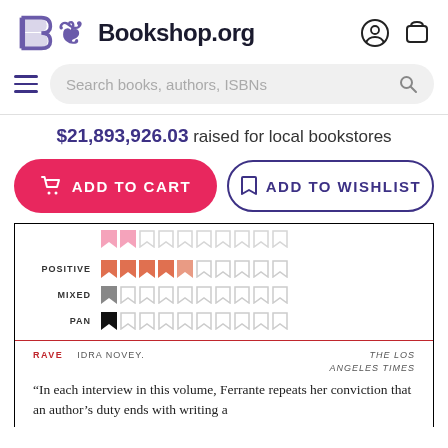[Figure (logo): Bookshop.org logo with stylized B and text]
[Figure (screenshot): Search bar with hamburger menu and search icon]
$21,893,926.03 raised for local bookstores
[Figure (screenshot): ADD TO CART and ADD TO WISHLIST buttons]
[Figure (infographic): Bookmark rating chart with POSITIVE (5 filled), MIXED (1 filled), PAN (1 filled) out of 10 bookmarks each]
RAVE  IDRA NOVEY.  THE LOS ANGELES TIMES
“In each interview in this volume, Ferrante repeats her conviction that an author’s duty ends with writing a